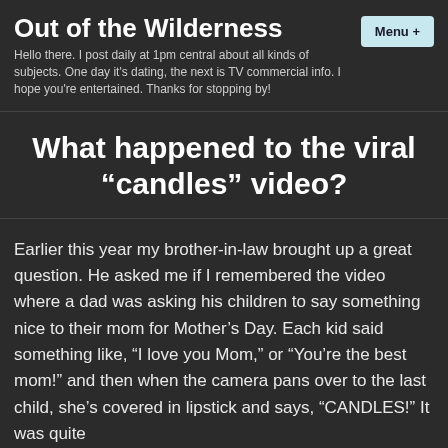Out of the Wilderness
Hello there. I post daily at 1pm central about all kinds of subjects. One day it's dating, the next is TV commercial info. I hope you're entertained. Thanks for stopping by!
What happened to the viral “candles” video?
Earlier this year my brother-in-law brought up a great question. He asked me if I remembered the video where a dad was asking his children to say something nice to their mom for Mother’s Day. Each kid said something like, “I love you Mom,” or “You’re the best mom!” and then when the camera pans over to the last child, she’s covered in lipstick and says, “CANDLES!” It was quite